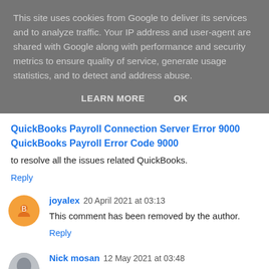This site uses cookies from Google to deliver its services and to analyze traffic. Your IP address and user-agent are shared with Google along with performance and security metrics to ensure quality of service, generate usage statistics, and to detect and address abuse.
LEARN MORE   OK
QuickBooks Payroll Connection Server Error 9000
QuickBooks Payroll Error Code 9000
to resolve all the issues related QuickBooks.
Reply
joyalex  20 April 2021 at 03:13
This comment has been removed by the author.
Reply
Nick mosan  12 May 2021 at 03:48
An amazing figure can be with Quickbooks issue to...